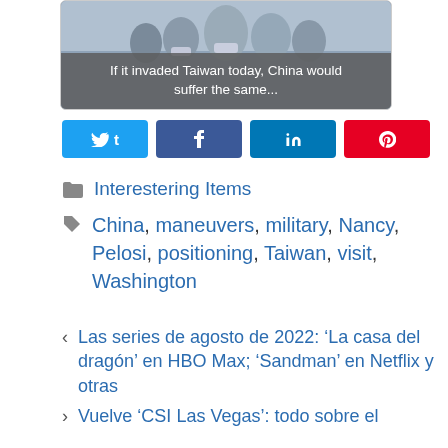[Figure (photo): Photo of people wearing masks with gray overlay caption reading 'If it invaded Taiwan today, China would suffer the same...']
If it invaded Taiwan today, China would suffer the same...
Twitter share button, Facebook share button, LinkedIn share button, Pinterest share button
Interestering Items
China, maneuvers, military, Nancy, Pelosi, positioning, Taiwan, visit, Washington
< Las series de agosto de 2022: 'La casa del dragón' en HBO Max; 'Sandman' en Netflix y otras
> Vuelve 'CSI Las Vegas': todo sobre el